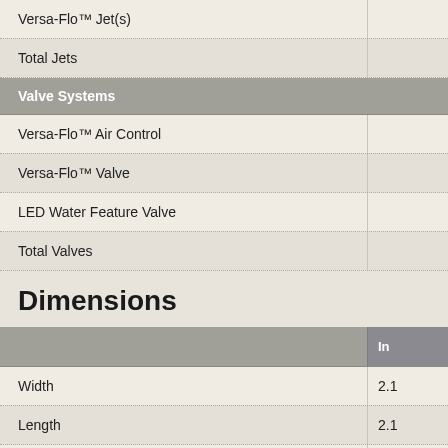|  |  |
| --- | --- |
| Versa-Flo™ Jet(s) |  |
| Total Jets |  |
| Valve Systems |  |
| Versa-Flo™ Air Control |  |
| Versa-Flo™ Valve |  |
| LED Water Feature Valve |  |
| Total Valves |  |
Dimensions
|  | In |
| --- | --- |
| Width | 2.1 |
| Length | 2.1 |
| Height | 0.9 |
| Average Fill | 14 |
| Dry Weight | 35 |
| Average Fill Weight | 17 |
| Seating Capacity | 5( |